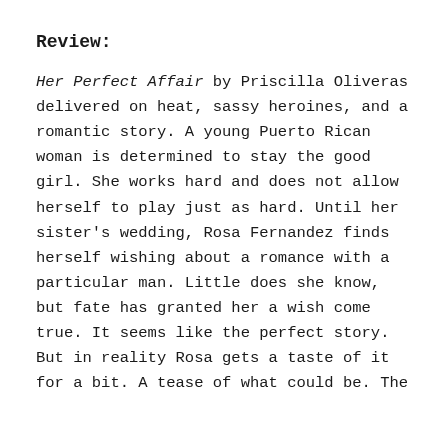Review:
Her Perfect Affair by Priscilla Oliveras delivered on heat, sassy heroines, and a romantic story. A young Puerto Rican woman is determined to stay the good girl. She works hard and does not allow herself to play just as hard. Until her sister's wedding, Rosa Fernandez finds herself wishing about a romance with a particular man. Little does she know, but fate has granted her a wish come true. It seems like the perfect story. But in reality Rosa gets a taste of it for a bit. A tease of what could be. The